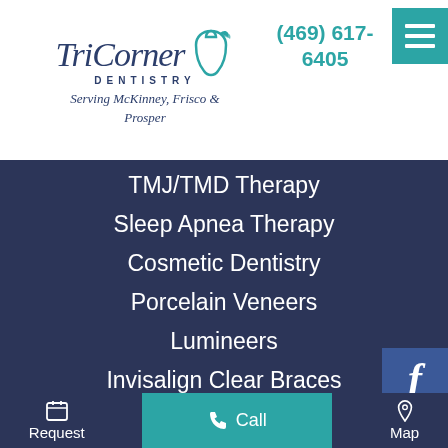[Figure (logo): TriCorner Dentistry logo with tooth icon and tagline 'Serving McKinney, Frisco & Prosper']
(469) 617-6405
TMJ/TMD Therapy
Sleep Apnea Therapy
Cosmetic Dentistry
Porcelain Veneers
Lumineers
Invisalign Clear Braces
Six Month Smiles
Request  Call  Map